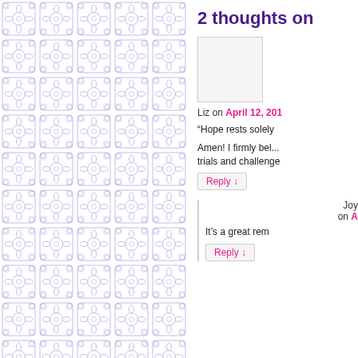[Figure (illustration): Decorative tile pattern in light lavender/purple on white background, repeated ornamental motifs]
2 thoughts on
[Figure (photo): Avatar/profile image placeholder box, light gray]
Liz on April 12, 201
“Hope rests solely
Amen! I firmly bel... trials and challenge
Reply ↓
Joy on A
It’s a great rem
Reply ↓